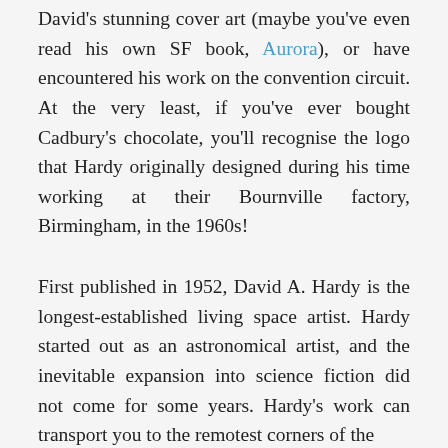David's stunning cover art (maybe you've even read his own SF book, Aurora), or have encountered his work on the convention circuit. At the very least, if you've ever bought Cadbury's chocolate, you'll recognise the logo that Hardy originally designed during his time working at their Bournville factory, Birmingham, in the 1960s!
First published in 1952, David A. Hardy is the longest-established living space artist. Hardy started out as an astronomical artist, and the inevitable expansion into science fiction did not come for some years. Hardy's work can transport you to the remotest corners of the